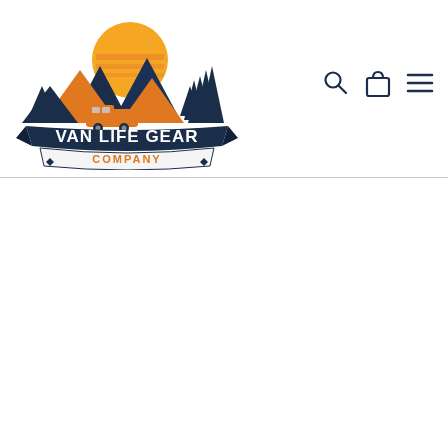[Figure (logo): Van Life Gear Company logo featuring mountains, pine trees, an orange sun, and a van with text 'VAN LIFE GEAR COMPANY' in navy and orange]
[Figure (other): Navigation icons: search magnifying glass, shopping bag/cart, and hamburger menu lines]